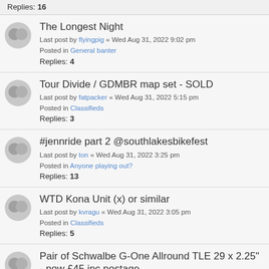Replies: 16
The Longest Night
Last post by flyingpig « Wed Aug 31, 2022 9:02 pm
Posted in General banter
Replies: 4
Tour Divide / GDMBR map set - SOLD
Last post by fatpacker « Wed Aug 31, 2022 5:15 pm
Posted in Classifieds
Replies: 3
#jennride part 2 @southlakesbikefest
Last post by ton « Wed Aug 31, 2022 3:25 pm
Posted in Anyone playing out?
Replies: 13
WTD Kona Unit (x) or similar
Last post by kvragu « Wed Aug 31, 2022 3:05 pm
Posted in Classifieds
Replies: 5
Pair of Schwalbe G-One Allround TLE 29 x 2.25" - now £45 inc postage
Last post by velocipede65 « Wed Aug 31, 2022 12:13 pm
Posted in Classifieds
Replies: 1